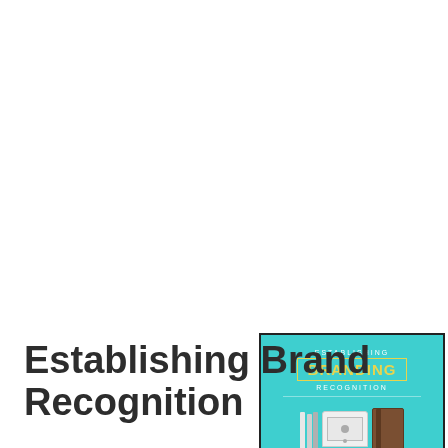[Figure (illustration): Book cover for 'Establishing Branding Recognition' with teal/cyan background, showing branding-related items including pencils, laptop, notebook, phone, documents, and tags. Title text reads 'ESTABLISHING BRANDING RECOGNITION' in yellow and white.]
Establishing Brand Recognition